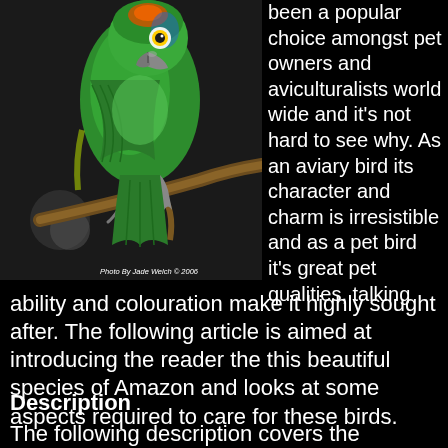[Figure (photo): A green Amazon parrot perched on a branch, photographed by Jade Welch in 2006. The parrot is primarily bright green with some yellow and orange markings, gripping a branch with its gray feet.]
Photo By Jade Welch © 2006
been a popular choice amongst pet owners and aviculturalists world wide and it's not hard to see why. As an aviary bird its character and charm is irresistible and as a pet bird it's great pet qualities, talking ability and colouration make it highly sought after. The following article is aimed at introducing the reader the this beautiful species of Amazon and looks at some aspects required to care for these birds.
Description
The following description covers the nominate race A.